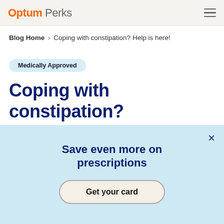Optum Perks
Blog Home > Coping with constipation? Help is here!
Medically Approved
Coping with constipation? Help is here!
Save even more on prescriptions
Get your card